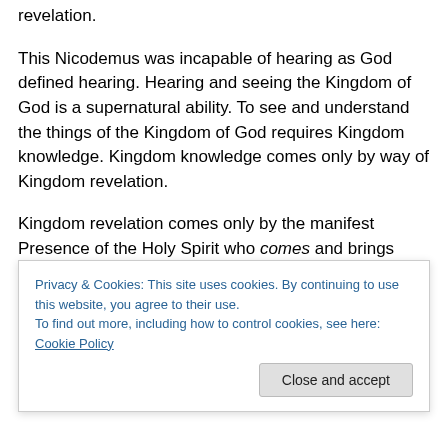revelation.
This Nicodemus was incapable of hearing as God defined hearing. Hearing and seeing the Kingdom of God is a supernatural ability. To see and understand the things of the Kingdom of God requires Kingdom knowledge. Kingdom knowledge comes only by way of Kingdom revelation.
Kingdom revelation comes only by the manifest Presence of the Holy Spirit who comes and brings such knowledge. Only those “born of the Spirit” can understand it. Only
Privacy & Cookies: This site uses cookies. By continuing to use this website, you agree to their use.
To find out more, including how to control cookies, see here: Cookie Policy
meant when He spoke of the Spirit’s goings and comings.